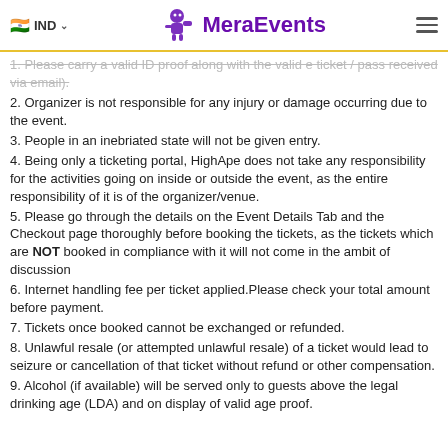IND   MeraEvents
1. Please carry a valid ID proof along with the valid e ticket / pass received via email.
2. Organizer is not responsible for any injury or damage occurring due to the event.
3. People in an inebriated state will not be given entry.
4. Being only a ticketing portal, HighApe does not take any responsibility for the activities going on inside or outside the event, as the entire responsibility of it is of the organizer/venue.
5. Please go through the details on the Event Details Tab and the Checkout page thoroughly before booking the tickets, as the tickets which are NOT booked in compliance with it will not come in the ambit of discussion
6. Internet handling fee per ticket applied.Please check your total amount before payment.
7. Tickets once booked cannot be exchanged or refunded.
8. Unlawful resale (or attempted unlawful resale) of a ticket would lead to seizure or cancellation of that ticket without refund or other compensation.
9. Alcohol (if available) will be served only to guests above the legal drinking age (LDA) and on display of valid age proof.
10. ...